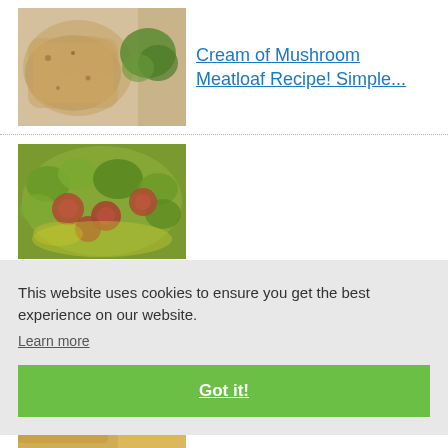[Figure (photo): Photo of breaded meat (meatloaf) with broccoli on a white plate, close-up view]
Cream of Mushroom Meatloaf Recipe! Simple...
[Figure (photo): Photo of broccoli with sliced sausage pieces in a colorful dish]
low
This website uses cookies to ensure you get the best experience on our website.
Learn more
Got it!
[Figure (photo): Partial view of a third recipe photo at the bottom of the page]